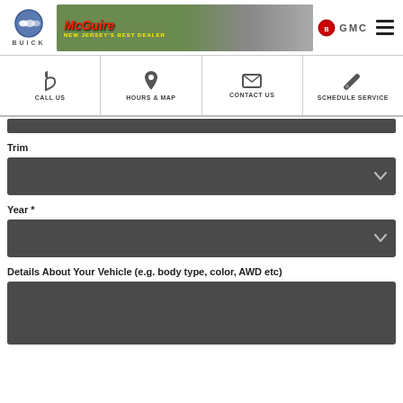[Figure (logo): Buick logo with circular emblem and BUICK text below]
[Figure (photo): McGuire dealership banner - New Jersey's Best Dealer with dealership photo]
[Figure (logo): Buick GMC logo and hamburger menu icon]
CALL US
HOURS & MAP
CONTACT US
SCHEDULE SERVICE
Trim
Year *
Details About Your Vehicle (e.g. body type, color, AWD etc)